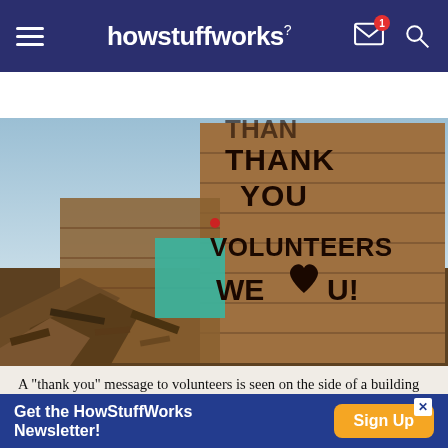howstuffworks
Sign up for our Newsletter!
[Figure (photo): A wooden wall amid tornado rubble with graffiti reading 'THANK YOU VOLUNTEERS WE [heart] U!' painted on it in black spray paint. Blue sky and debris visible.]
A "thank you" message to volunteers is seen on the side of a building after a massive tornado in Joplin, Mo. that killed 161 people. Volunteers are appreciated in disasters, but it's best that they have training in disaster response. MARIO
Get the HowStuffWorks Newsletter!